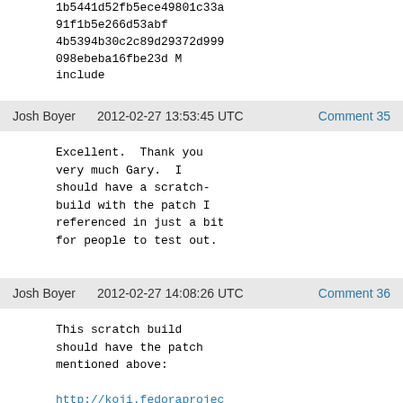1b5441d52fb5ece49801c33a
91f1b5e266d53abf
4b5394b30c2c89d29372d999
098ebeba16fbe23d M
include
Josh Boyer   2012-02-27 13:53:45 UTC   Comment 35
Excellent.  Thank you
very much Gary.  I
should have a scratch-
build with the patch I
referenced in just a bit
for people to test out.
Josh Boyer   2012-02-27 14:08:26 UTC   Comment 36
This scratch build
should have the patch
mentioned above:

http://koji.fedoraproject.org/koji/taskinfo?